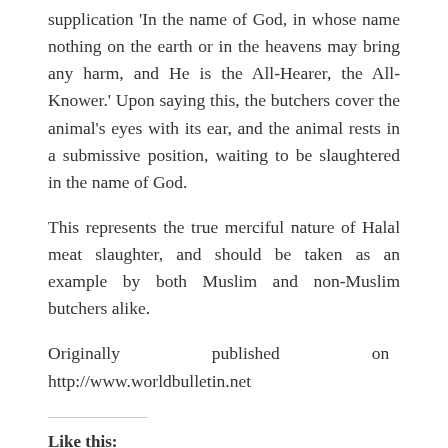supplication 'In the name of God, in whose name nothing on the earth or in the heavens may bring any harm, and He is the All-Hearer, the All-Knower.' Upon saying this, the butchers cover the animal's eyes with its ear, and the animal rests in a submissive position, waiting to be slaughtered in the name of God.
This represents the true merciful nature of Halal meat slaughter, and should be taken as an example by both Muslim and non-Muslim butchers alike.
Originally published on http://www.worldbulletin.net
Like this:
Loading